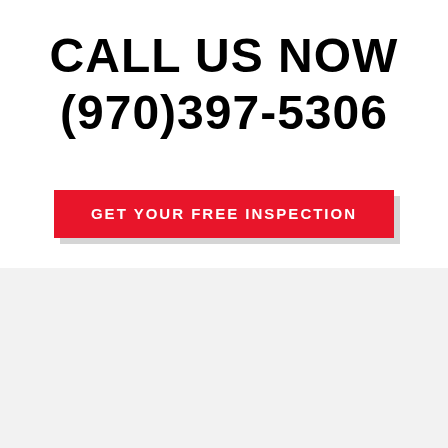CALL US NOW (970)397-5306
GET YOUR FREE INSPECTION